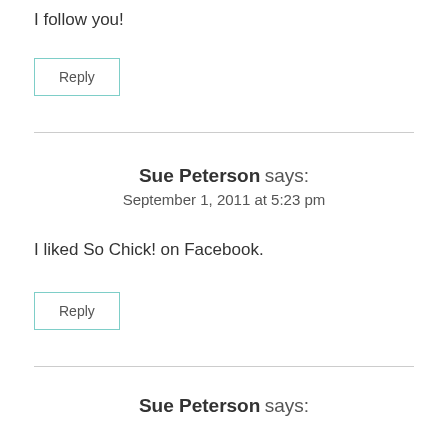I follow you!
Reply
Sue Peterson says:
September 1, 2011 at 5:23 pm
I liked So Chick! on Facebook.
Reply
Sue Peterson says: